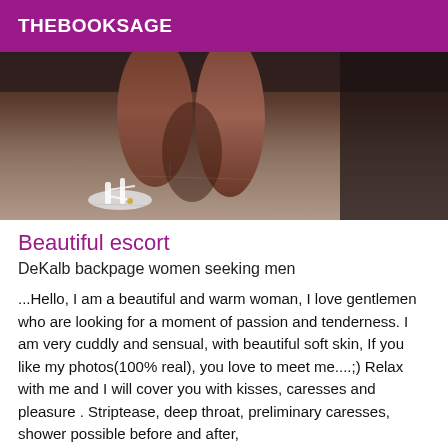THEBOOKSAGE
[Figure (photo): Close-up photo of a person's legs wearing strappy white heeled sandals, standing on a tiled floor. Dark background with another person's legs visible.]
Beautiful escort
DeKalb backpage women seeking men
...Hello, I am a beautiful and warm woman, I love gentlemen who are looking for a moment of passion and tenderness. I am very cuddly and sensual, with beautiful soft skin, If you like my photos(100% real), you love to meet me....;) Relax with me and I will cover you with kisses, caresses and pleasure . Striptease, deep throat, preliminary caresses, shower possible before and after,